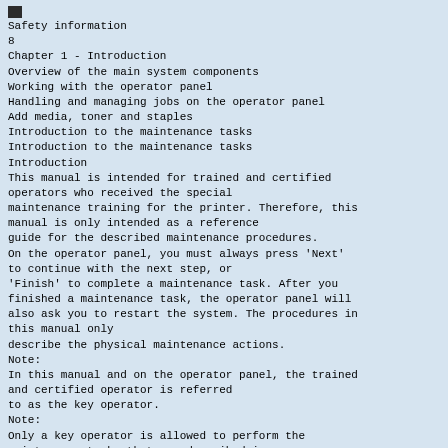Safety information
8
Chapter 1 - Introduction
Overview of the main system components
Working with the operator panel
Handling and managing jobs on the operator panel
Add media, toner and staples
Introduction to the maintenance tasks
Introduction to the maintenance tasks
Introduction
This manual is intended for trained and certified operators who received the special maintenance training for the printer. Therefore, this manual is only intended as a reference guide for the described maintenance procedures.
On the operator panel, you must always press 'Next' to continue with the next step, or 'Finish' to complete a maintenance task. After you finished a maintenance task, the operator panel will also ask you to restart the system. The procedures in this manual only describe the physical maintenance actions.
Note:
In this manual and on the operator panel, the trained and certified operator is referred to as the key operator.
Note:
Only a key operator is allowed to perform the maintenance tasks that are described in this manual. To make sure that only a key operator performs the maintenance tasks, it is recommended to define a maintenance PIN in the